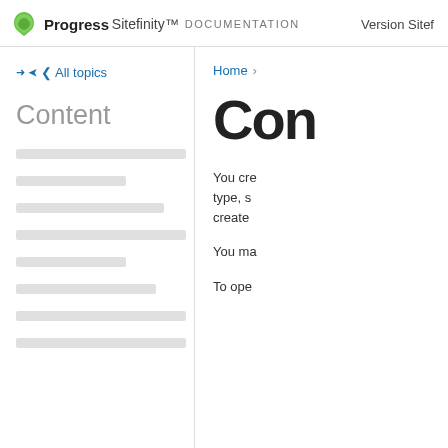Progress Sitefinity DOCUMENTATION   Version Sitef
< All topics
Content
[Figure (other): Skeleton loading placeholder lines in the left navigation panel]
Home >
Con
You cre type, s create
You ma
To ope